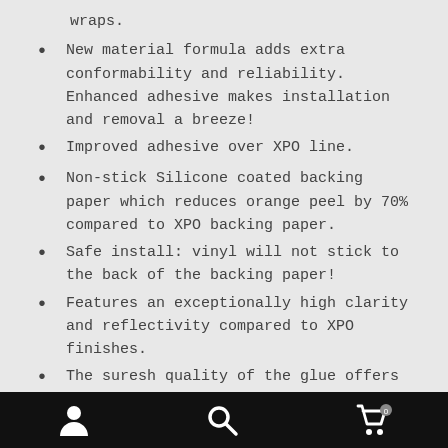wraps.
New material formula adds extra conformability and reliability. Enhanced adhesive makes installation and removal a breeze!
Improved adhesive over XPO line.
Non-stick Silicone coated backing paper which reduces orange peel by 70% compared to XPO backing paper.
Safe install: vinyl will not stick to the back of the backing paper!
Features an exceptionally high clarity and reflectivity compared to XPO finishes.
The suresh quality of the glue offers